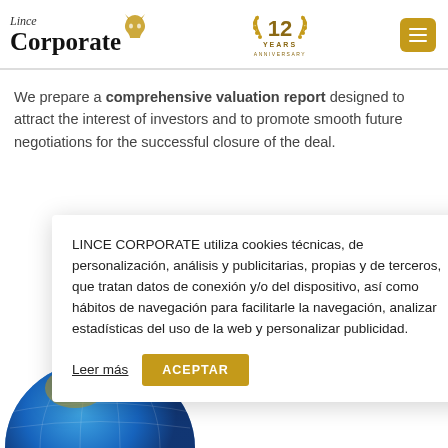Lince Corporate — 12 Years Anniversary
We prepare a comprehensive valuation report designed to attract the interest of investors and to promote smooth future negotiations for the successful closure of the deal.
LINCE CORPORATE utiliza cookies técnicas, de personalización, análisis y publicitarias, propias y de terceros, que tratan datos de conexión y/o del dispositivo, así como hábitos de navegación para facilitarle la navegación, analizar estadísticas del uso de la web y personalizar publicidad.
Leer más  ACEPTAR
[Figure (photo): Partial view of a circular image with blue globe/world sphere background at bottom left of page]